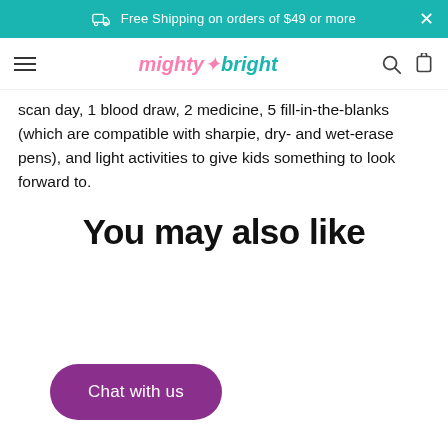Free Shipping on orders of $49 or more
[Figure (logo): Mighty Bright logo with hamburger menu, search, and bag icons in navigation bar]
scan day, 1 blood draw, 2 medicine, 5 fill-in-the-blanks (which are compatible with sharpie, dry- and wet-erase pens), and light activities to give kids something to look forward to.
You may also like
Chat with us